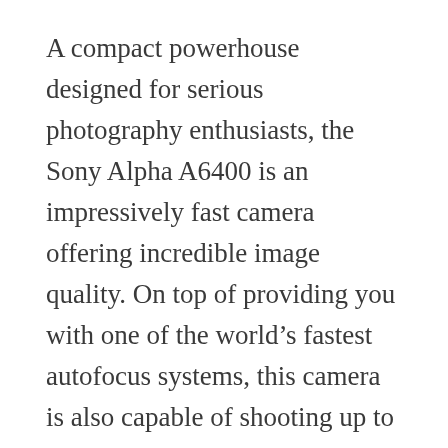A compact powerhouse designed for serious photography enthusiasts, the Sony Alpha A6400 is an impressively fast camera offering incredible image quality. On top of providing you with one of the world’s fastest autofocus systems, this camera is also capable of shooting up to 11 frames per second continuously.  This means that even the most fleeting moments are captured.
The Sony Alpha A6400 comes with a real-time tracking autofocus system that follows your subjects and an eye detection function that ensures your people shots are always on-